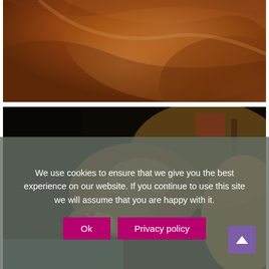[Figure (photo): Close-up photo of warm skin tones in amber/orange lighting, suggesting a massage or spa treatment]
[Figure (photo): Photo of a man lying down receiving a facial massage, with hands with red nails visible cradling his face, warm ambient lighting in background]
We use cookies to ensure that we give you the best experience on our website. If you continue to use this site we will assume that you are happy with it.